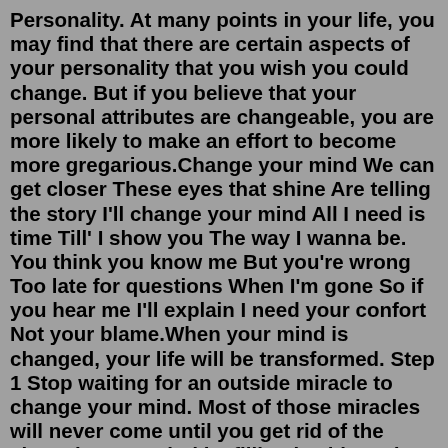Personality. At many points in your life, you may find that there are certain aspects of your personality that you wish you could change. But if you believe that your personal attributes are changeable, you are more likely to make an effort to become more gregarious.Change your mind We can get closer These eyes that shine Are telling the story I'll change your mind All I need is time Till' I show you The way I wanna be. You think you know me But you're wrong Too late for questions When I'm gone So if you hear me I'll explain I need your confort Not your blame.When your mind is changed, your life will be transformed. Step 1 Stop waiting for an outside miracle to change your mind. Most of those miracles will never come until you get rid of the chaos in your mind by filling it with God's Word.Train Your Mind, Change Your Brain: How a New Science Reveals Our Extraordinary Potential to Transform Ourselves By Sharon Begley Ballantine Organized since 1987 by the Mind & Life Institute , a nonprofit that fosters collaboration between eminent researchers and